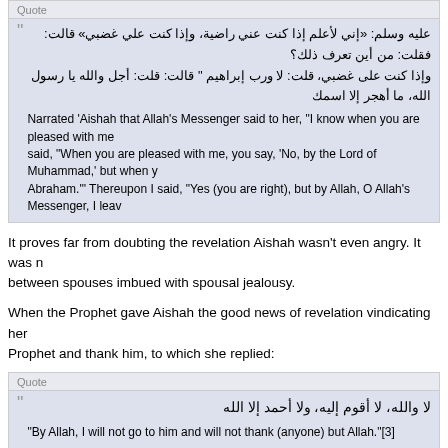Quote (first quote box label)
Arabic text: إني لأعلم إذا كنت عني راضية، وإذا كنت علي غضبي... (Arabic hadith text)
Narrated 'Aishah that Allah's Messenger said to her, "I know when you are pleased with me... said, "When you are pleased with me, you say, 'No, by the Lord of Muhammad,' but when y... Abraham.'" Thereupon I said, "Yes (you are right), but by Allah, O Allah's Messenger, I leav...
It proves far from doubting the revelation Aishah wasn't even angry. It was n... between spouses imbued with spousal jealousy.
When the Prophet gave Aishah the good news of revelation vindicating her... Prophet and thank him, to which she replied:
Quote (second quote box label)
Arabic: لا والله، لا أقوم إليه، ولا أحمد إلا الله
"By Allah, I will not go to him and will not thank (anyone) but Allah."[3]
On the same note the statement under consideration came from his wife an... blessed Prophet used to be frank and informal with his wives and likewise,... conclusion is that there was certainly no skepticism or disrespect but only b...
2.2 Aishah did not doubt prophethood
The Asse...that the Prophet did not...from her...